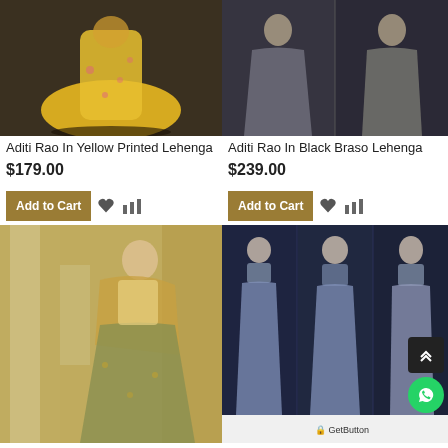[Figure (photo): Yellow printed lehenga worn by Aditi Rao, full-length photo on dark background]
[Figure (photo): Black braso lehenga worn by Aditi Rao, dark grey metallic outfit, two-panel photo]
Aditi Rao In Yellow Printed Lehenga
$179.00
Aditi Rao In Black Braso Lehenga
$239.00
[Figure (photo): Model wearing gold and green lehenga with dupatta in ornate setting]
[Figure (photo): Model wearing grey-blue lehenga, three-panel photo]